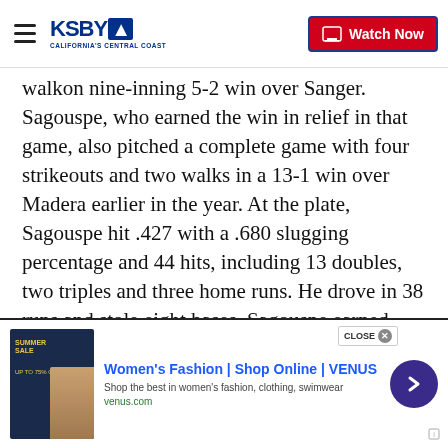KSBY California's Central Coast | Watch Now
walkon nine-inning 5-2 win over Sanger. Sagouspe, who earned the win in relief in that game, also pitched a complete game with four strikeouts and two walks in a 13-1 win over Madera earlier in the year. At the plate, Sagouspe hit .427 with a .680 slugging percentage and 44 hits, including 13 doubles, two triples and three home runs. He drove in 38 runs and stole eight bases. Sagouspe earned MVP honors in the 50th annual Fresno Easter Classic after going 6-for-13 with a double, two home runs and seven RBIs. Postseason honors include first-team all-section and all-league and second-team all-state (medium schools). Twice he
[Figure (screenshot): Advertisement for Women's Fashion at VENUS - Shop Online with image of Summer Sale, arrow button, and close button]